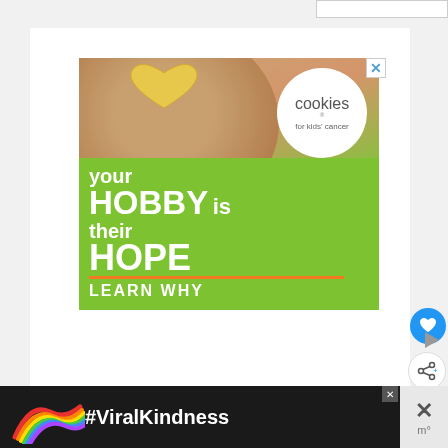[Figure (screenshot): Advertisement for Cookies for Kids' Cancer showing hands holding a heart-shaped cookie with text 'your HOBBY is their HOPE LEARN WHY' on a green background with the Cookies for Kids' Cancer logo]
Borax
[Figure (screenshot): Bottom banner advertisement with rainbow chalk drawing and text '#ViralKindness']